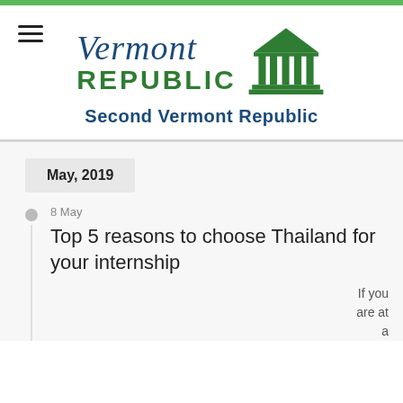[Figure (logo): Vermont Republic logo with script 'Vermont' text, 'REPUBLIC' in green uppercase, a green Greek temple/building icon, and tagline 'Second Vermont Republic' in dark blue bold text]
May, 2019
8 May
Top 5 reasons to choose Thailand for your internship
If you are at